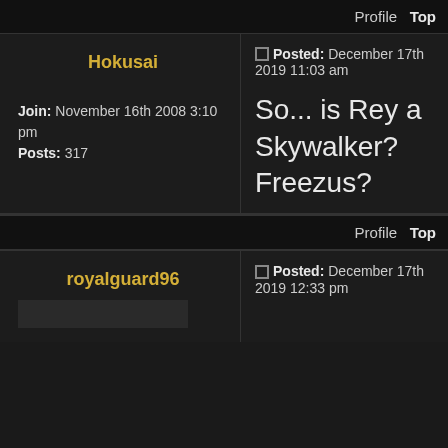Profile  Top
Hokusai
Posted: December 17th 2019 11:03 am
Join: November 16th 2008 3:10 pm
Posts: 317
So... is Rey a Skywalker? Freezus?
Profile  Top
royalguard96
Posted: December 17th 2019 12:33 pm